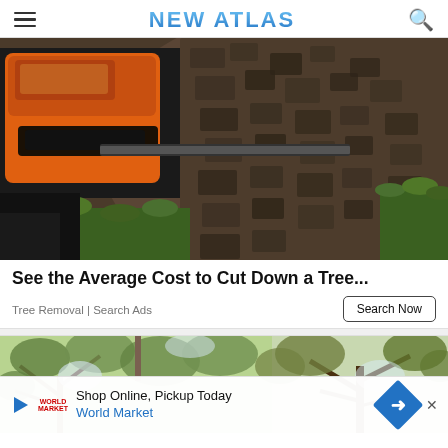NEW ATLAS
[Figure (photo): Close-up photo of a chainsaw cutting into the bark of a large tree trunk, with green grass visible in the background. The chainsaw is orange.]
See the Average Cost to Cut Down a Tree...
Tree Removal | Search Ads
[Figure (photo): Photo of tree canopy with branches and leaves against the sky, split into two panels. An inline advertisement banner overlays the bottom portion showing a World Market Shop Online Pickup Today ad.]
Shop Online, Pickup Today
World Market